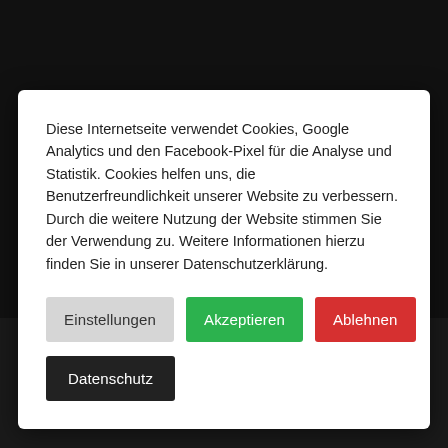Diese Internetseite verwendet Cookies, Google Analytics und den Facebook-Pixel für die Analyse und Statistik. Cookies helfen uns, die Benutzerfreundlichkeit unserer Website zu verbessern. Durch die weitere Nutzung der Website stimmen Sie der Verwendung zu. Weitere Informationen hierzu finden Sie in unserer Datenschutzerklärung.
Einstellungen
Akzeptieren
Ablehnen
Datenschutz
Back to the Girl… | Kontakt Formul… | Startsei… | Zur | Private Party… | Explore Do…